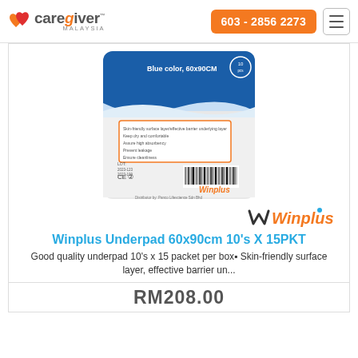[Figure (logo): Caregiver Malaysia logo with orange and red heart icon and text]
603 - 2856 2273
[Figure (photo): Winplus Underpad 60x90cm product packaging - blue and white pack showing product details including Blue color, 60x90CM text, product features list, barcode, CE mark, and Winplus brand logo]
[Figure (logo): Winplus brand logo in orange and dark text]
Winplus Underpad 60x90cm 10's X 15PKT
Good quality underpad 10's x 15 packet per box▪ Skin-friendly surface layer, effective barrier un...
RM208.00